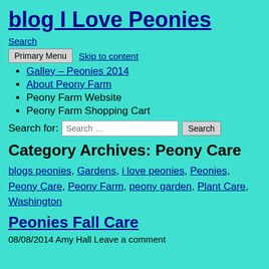blog I Love Peonies
Search
Primary Menu   Skip to content
Galley – Peonies 2014
About Peony Farm
Peony Farm Website
Peony Farm Shopping Cart
Search for: Search …  Search
Category Archives: Peony Care
blogs peonies, Gardens, i love peonies, Peonies, Peony Care, Peony Farm, peony garden, Plant Care, Washington
Peonies Fall Care
08/08/2014 Amy Hall Leave a comment